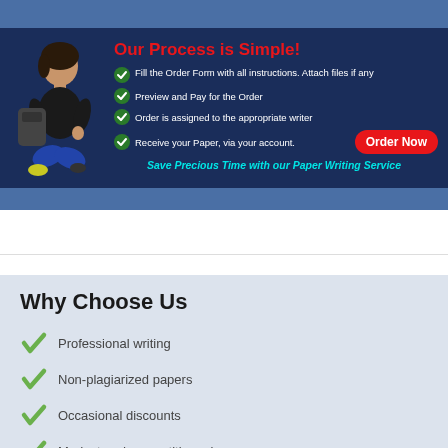[Figure (infographic): Banner with dark blue background showing a student sitting cross-legged with a backpack. Text reads 'Our Process is Simple!' in red, followed by four green checkmark bullet points: 'Fill the Order Form with all instructions. Attach files if any', 'Preview and Pay for the Order', 'Order is assigned to the appropriate writer', 'Receive your Paper, via your account.' with a red 'Order Now' button, and cyan italic tagline 'Save Precious Time with our Paper Writing Service']
Why Choose Us
Professional writing
Non-plagiarized papers
Occasional discounts
Modest and competitive prices
Money-back guarantee